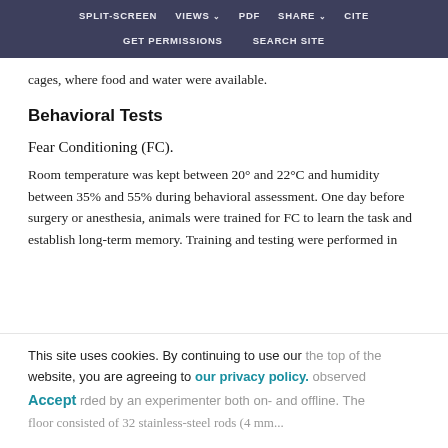SPLIT-SCREEN  VIEWS  PDF  SHARE  CITE  GET PERMISSIONS  SEARCH SITE
cages, where food and water were available.
Behavioral Tests
Fear Conditioning (FC).
Room temperature was kept between 20° and 22°C and humidity between 35% and 55% during behavioral assessment. One day before surgery or anesthesia, animals were trained for FC to learn the task and establish long-term memory. Training and testing were performed in
This site uses cookies. By continuing to use our website, you are agreeing to our privacy policy. Accept
the top of the … observed … rded by an experimenter both on- and offline. The floor consisted of 32 stainless-steel rods (4 mm...